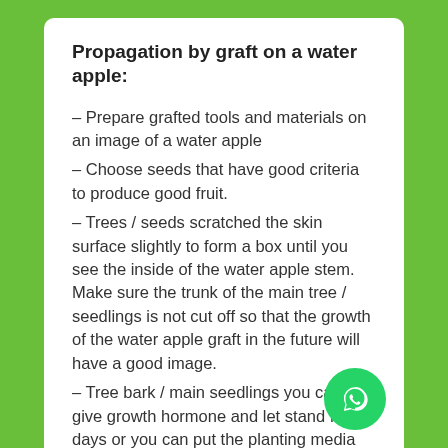Propagation by graft on a water apple:
– Prepare grafted tools and materials on an image of a water apple
– Choose seeds that have good criteria to produce good fruit.
– Trees / seeds scratched the skin surface slightly to form a box until you see the inside of the water apple stem. Make sure the trunk of the main tree / seedlings is not cut off so that the growth of the water apple graft in the future will have a good image.
– Tree bark / main seedlings you can give growth hormone and let stand for 3 days or you can put the planting media directly if you…